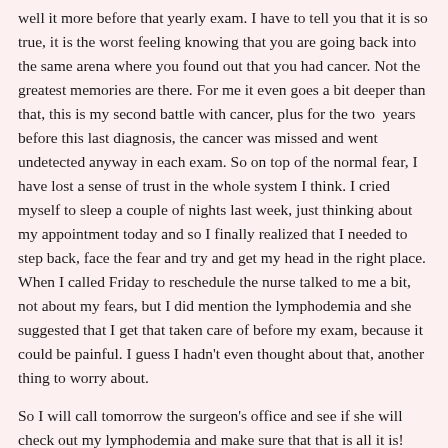well it more before that yearly exam. I have to tell you that it is so true, it is the worst feeling knowing that you are going back into the same arena where you found out that you had cancer. Not the greatest memories are there. For me it even goes a bit deeper than that, this is my second battle with cancer, plus for the two years before this last diagnosis, the cancer was missed and went undetected anyway in each exam. So on top of the normal fear, I have lost a sense of trust in the whole system I think. I cried myself to sleep a couple of nights last week, just thinking about my appointment today and so I finally realized that I needed to step back, face the fear and try and get my head in the right place. When I called Friday to reschedule the nurse talked to me a bit, not about my fears, but I did mention the lymphodemia and she suggested that I get that taken care of before my exam, because it could be painful. I guess I hadn't even thought about that, another thing to worry about.
So I will call tomorrow the surgeon's office and see if she will check out my lymphodemia and make sure that that is all it is! ALL IT IS... :) that is enough, but we need to make sure that some of those places are just swelling not lumps. It is hard to tell the difference. I don't know what I am feeling. I have never felt my chest wall before. I have always had a breast over top of it. There